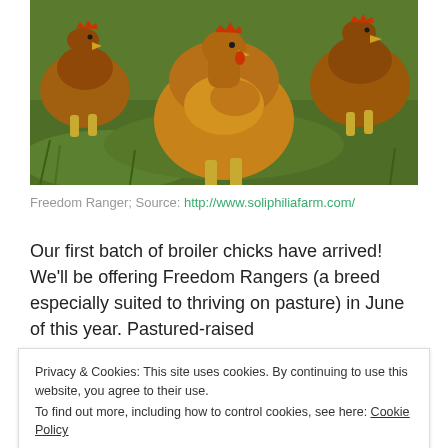[Figure (photo): Photograph of several Freedom Ranger chickens (golden-brown broiler breed) foraging on green pasture grass, viewed from close ground level.]
Freedom Ranger; Source: http://www.soliphiliafarm.com/
Our first batch of broiler chicks have arrived! We'll be offering Freedom Rangers (a breed especially suited to thriving on pasture) in June of this year. Pastured-raised
Privacy & Cookies: This site uses cookies. By continuing to use this website, you agree to their use.
To find out more, including how to control cookies, see here: Cookie Policy
weight, which means they have more time to develop